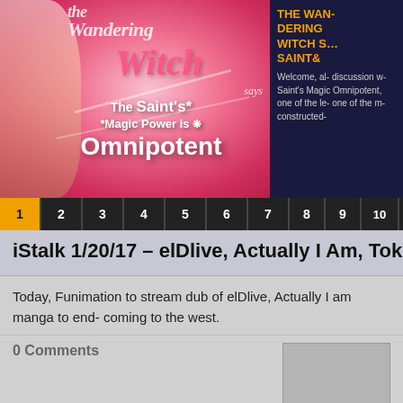[Figure (illustration): The Wandering Witch banner image showing an anime character with 'The Saint's Magic Power is Omnipotent' title on a pink/red gradient background]
THE WANDERING WITCH SAYS SAINT&
Welcome, all discussion with Saint's Magic Omnipotent, one of the le- one of the m- constructed-
1
2
3
4
5
6
7
8
9
10
11
iStalk 1/20/17 – elDlive, Actually I Am, Tokyo
Today, Funimation to stream dub of elDlive, Actually I am manga to end- coming to the west.
0 Comments
iStalk 1/17/17 – Dynamic Chord, Kirakira D-